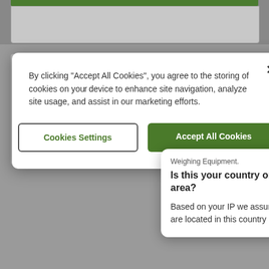[Figure (screenshot): Screenshot of a product page for a Carat Balance/Weighing Equipment with a cookie consent modal overlay and a country detection popup. The background shows a product card with a green header bar, product title 'Carat Balance...' in blue, product description text, and specification rows for Balance Model (Carat/Gold): Carat, Maximum Capacity: 700 ct/140 g. A white cookie consent dialog overlays the top portion asking users to accept cookies, with 'Cookies Settings' and 'Accept All Cookies' buttons. A second white popup shows 'Is this your country or area?' with text about IP-based location detection.]
By clicking "Accept All Cookies", you agree to the storing of cookies on your device to enhance site navigation, analyze site usage, and assist in our marketing efforts.
Cookies Settings
Accept All Cookies
Weighing Equipment.
Is this your country or area?
Based on your IP we assume you are located in this country or area
Carat Bala...
Accurate and... ning. 700 ct/140 g cap... 4.5" color touchscreen... justment, 3 interfaces, 8... tection, metal base.
|  |  |
| --- | --- |
| Balance Model (Carat/Gold) | Carat |
| Maximum Capacity | 700 ct/140 g |